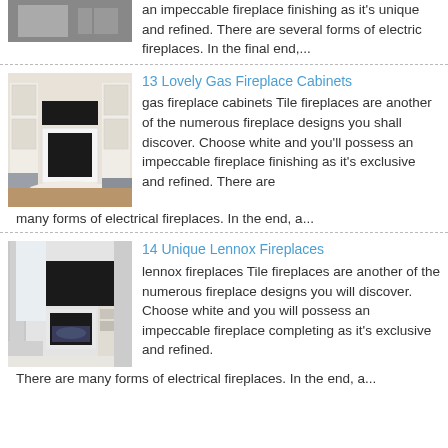[Figure (photo): Partial view of a room with fireplace, cropped at top]
an impeccable fireplace finishing as it's unique and refined. There are several forms of electric fireplaces. In the final end,...
[Figure (photo): Living room with white built-in cabinets and gas fireplace with TV mounted above]
13 Lovely Gas Fireplace Cabinets
gas fireplace cabinets Tile fireplaces are another of the numerous fireplace designs you shall discover. Choose white and you'll possess an impeccable fireplace finishing as it's exclusive and refined. There are many forms of electrical fireplaces. In the end, a...
[Figure (photo): Modern living room with Lennox fireplace insert and arc floor lamp]
14 Unique Lennox Fireplaces
lennox fireplaces Tile fireplaces are another of the numerous fireplace designs you will discover. Choose white and you will possess an impeccable fireplace completing as it's exclusive and refined. There are many forms of electrical fireplaces. In the end, a...